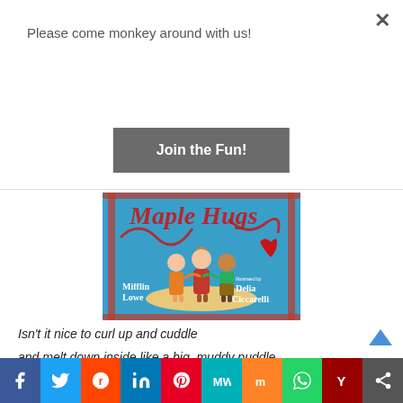Please come monkey around with us!
Join the Fun!
[Figure (illustration): Book cover showing three children hugging on a sandy island, with red heart decorations and swirling patterns on a blue background. Author: Mifflin Lowe, Illustrated by: Delia Ciccarelli.]
Isn't it nice to curl up and cuddle
and melt down inside like a big, muddy puddle,